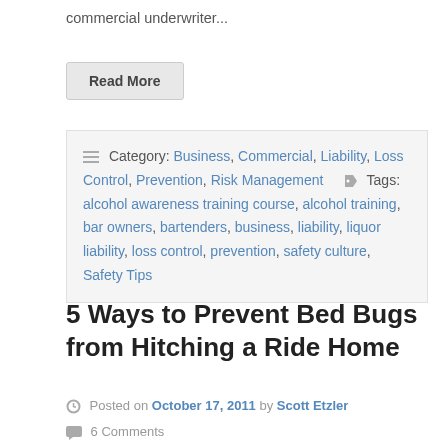commercial underwriter...
Read More
Category: Business, Commercial, Liability, Loss Control, Prevention, Risk Management   Tags: alcohol awareness training course, alcohol training, bar owners, bartenders, business, liability, liquor liability, loss control, prevention, safety culture, Safety Tips
5 Ways to Prevent Bed Bugs from Hitching a Ride Home
Posted on October 17, 2011 by Scott Etzler
6 Comments